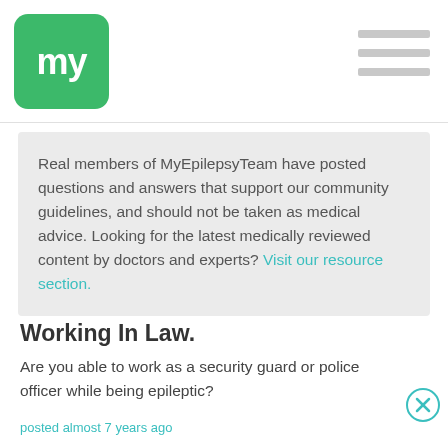my (MyEpilepsy Team logo)
Real members of MyEpilepsyTeam have posted questions and answers that support our community guidelines, and should not be taken as medical advice. Looking for the latest medically reviewed content by doctors and experts? Visit our resource section.
Working In Law.
Are you able to work as a security guard or police officer while being epileptic?
posted almost 7 years ago